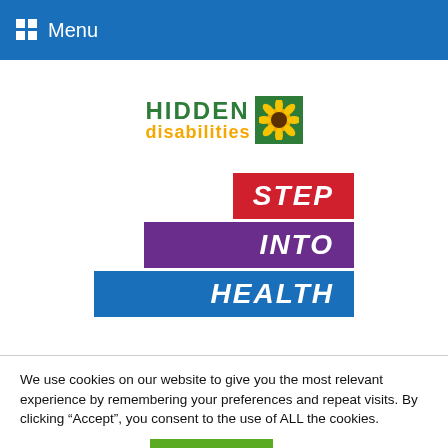Menu
[Figure (logo): Hidden Disabilities sunflower logo with green HIDDEN text, yellow 'disabilities' text, and a green box with sunflower icon]
[Figure (logo): Step Into Health logo with three stacked colored banners: red STEP, purple INTO, blue HEALTH in bold italic white text]
We use cookies on our website to give you the most relevant experience by remembering your preferences and repeat visits. By clicking “Accept”, you consent to the use of ALL the cookies.
Cookie settings   ACCEPT